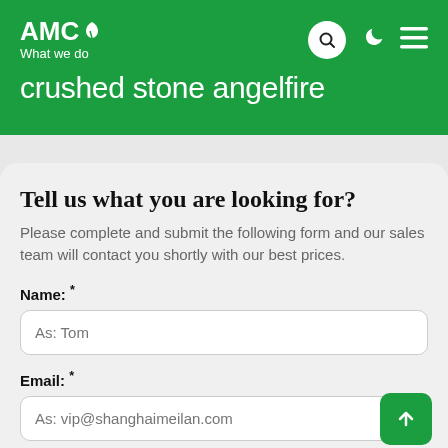AMC What we do
crushed stone angelfire
Tell us what you are looking for?
Please complete and submit the following form and our sales team will contact you shortly with our best prices.
Name: *
As: Tom
Email: *
As: vip@shanghaimeilan.com
Phone: *
With Country Code